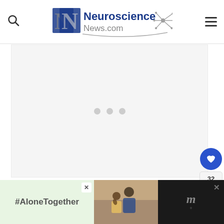Neuroscience News.com
[Figure (photo): Large image loading area with three gray dots indicating loading state, on a light gray background]
[Figure (other): Social interaction buttons: heart/like button (dark blue circle, 32 likes count), share button]
[Figure (other): Advertisement bar at bottom: #AloneTogether text on green background, photo of father and child, close button, weather/other brand logo on dark background]